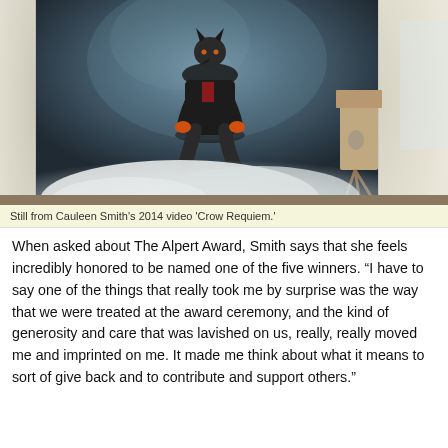[Figure (photo): Still from Cauleen Smith's 2014 video 'Crow Requiem.' A person wearing dark clothing and a crow/bird mask sits on a surface surrounded by white fog/smoke against a mottled blue-grey photographic backdrop, set within what appears to be a room with door frames visible on either side.]
Still from Cauleen Smith’s 2014 video ‘Crow Requiem.’
When asked about The Alpert Award, Smith says that she feels incredibly honored to be named one of the five winners. “I have to say one of the things that really took me by surprise was the way that we were treated at the award ceremony, and the kind of generosity and care that was lavished on us, really, really moved me and imprinted on me. It made me think about what it means to sort of give back and to contribute and support others.”